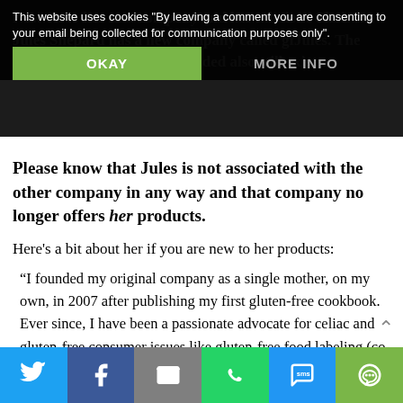This website uses cookies "By leaving a comment you are consenting to your email being collected for communication purposes only".
Now on to her new company and her mission: Christine Jules Shepard has a new company called gfJules. The company she previously founded also still exists.
Please know that Jules is not associated with the other company in any way and that company no longer offers her products.
Here's a bit about her if you are new to her products:
“I founded my original company as a single mother, on my own, in 2007 after publishing my first gluten-free cookbook. Ever since, I have been a passionate advocate for celiac and gluten-free consumer issues like gluten-free food labeling (co-founding 1in133.org), and helping those in our community. With my company, my goal was never to get rich, but rather to bring families with dietary restrictions to gather at mealtime or...